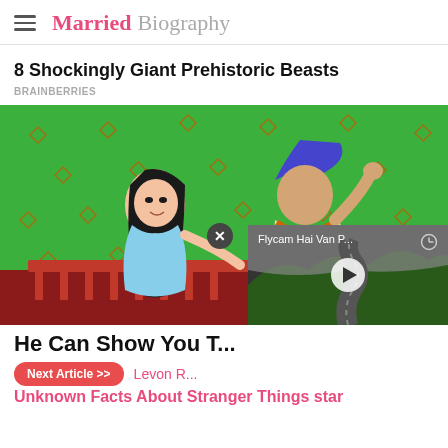Married Biography
8 Shockingly Giant Prehistoric Beasts
BRAINBERRIES
[Figure (photo): Cartoon illustration of Aladdin and Jasmine from Disney's Aladdin against a green background with orange diamond patterns, with a video overlay showing a winding mountain road with text 'Flycam Hai Van P...' and a play button, and a close (X) button overlay.]
He Can Show You T...
Next Article >>
Levon R...
Unknown Facts About Stranger Things star